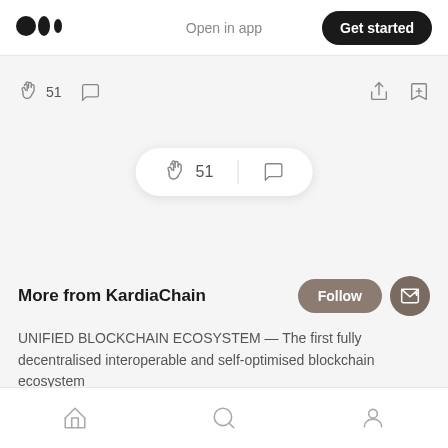Medium logo | Open in app | Get started
[Figure (screenshot): Action bar with clap icon showing 51 claps, comment icon, share icon, and bookmark icon]
[Figure (screenshot): Floating pill widget with clap icon showing 51 and comment icon]
More from KardiaChain
UNIFIED BLOCKCHAIN ECOSYSTEM — The first fully decentralised interoperable and self-optimised blockchain ecosystem
Bottom navigation: Home, Search, Profile